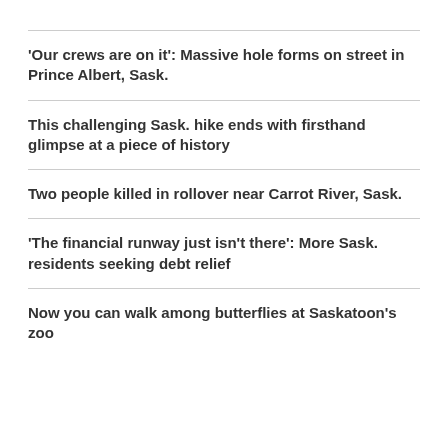'Our crews are on it': Massive hole forms on street in Prince Albert, Sask.
This challenging Sask. hike ends with firsthand glimpse at a piece of history
Two people killed in rollover near Carrot River, Sask.
'The financial runway just isn't there': More Sask. residents seeking debt relief
Now you can walk among butterflies at Saskatoon's zoo